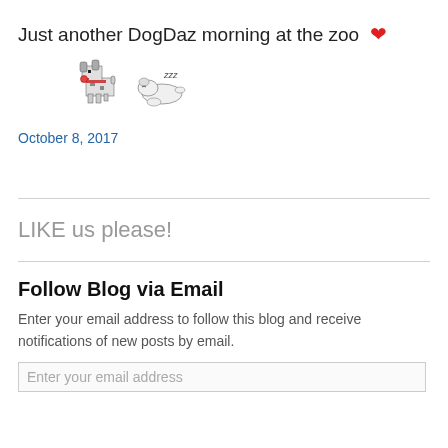Just another DogDaz morning at the zoo ❤
[Figure (illustration): Two pixel-art style dog emoji: a small spotted terrier dog and a sleeping white dog]
October 8, 2017
LIKE us please!
Follow Blog via Email
Enter your email address to follow this blog and receive notifications of new posts by email.
Enter your email address